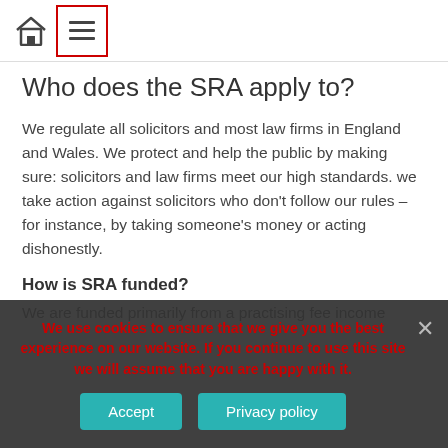Home | Menu
Who does the SRA apply to?
We regulate all solicitors and most law firms in England and Wales. We protect and help the public by making sure: solicitors and law firms meet our high standards. we take action against solicitors who don’t follow our rules – for instance, by taking someone’s money or acting dishonestly.
How is SRA funded?
We are funded primarily from a practising fee income…
We use cookies to ensure that we give you the best experience on our website. If you continue to use this site we will assume that you are happy with it.
Accept    Privacy policy